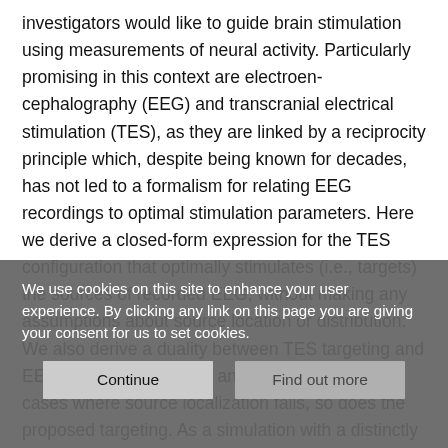investigators would like to guide brain stimulation using measurements of neural activity. Particularly promising in this context are electroen-cephalography (EEG) and transcranial electrical stimulation (TES), as they are linked by a reciprocity principle which, despite being known for decades, has not led to a formalism for relating EEG recordings to optimal stimulation parameters. Here we derive a closed-form expression for the TES configuration that optimally stimulates (i.e., targets) the sources of recorded EEG, without making any assumptions about source location or distribution. We also derive a duality between TES targeting and EEG source localization, and demonstrate that in cases where source localization fails, so does the proposed targeting. As a simulation with a distinctly placed...
We use cookies on this site to enhance your user experience. By clicking any link on this page you are giving your consent for us to set cookies.